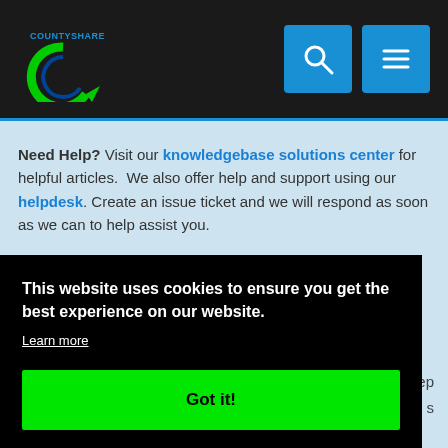CountyShare
Need Help? Visit our knowledgebase solutions center for helpful articles. We also offer help and support using our helpdesk. Create an issue ticket and we will respond as soon as we can to help assist you.
Request a Countyshare™ powered site for a county or ...
This website uses cookies to ensure you get the best experience on our website. Learn more Got it!